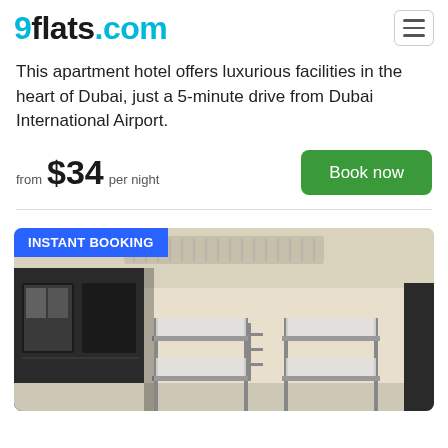9flats.com
This apartment hotel offers luxurious facilities in the heart of Dubai, just a 5-minute drive from Dubai International Airport.
from $34 per night
[Figure (screenshot): Green 'Book now' button]
[Figure (photo): Room photo showing bunk beds and dark wardrobes with INSTANT BOOKING badge overlay]